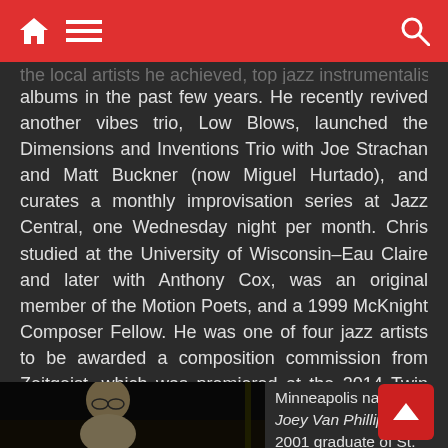[navigation bar with home, menu, and search icons]
albums in the past few years. He recently revived another vibes trio, Low Blows, launched the Dimensions and Inventions Trio with Joe Strachan and Matt Buckner (now Miguel Hurtado), and curates a monthly improvisation series at Jazz Central, one Wednesday night per month. Chris studied at the University of Wisconsin–Eau Claire and later with Anthony Cox, was an original member of the Motion Poets, and a 1999 McKnight Composer Fellow. He was one of four jazz artists to be awarded a composition commission from Zeitgeist, which was premiered at the 2014 Twin Cities Jazz Festival. He shares a recent McKnight Award with his cohorts in the Atlantis Quartet.
[Figure (photo): Photo of a young man with glasses, looking down, seated at what appears to be a piano or keyboard instrument, dark background]
Minneapolis native Joey Van Phillips is a 2001 graduate of St.